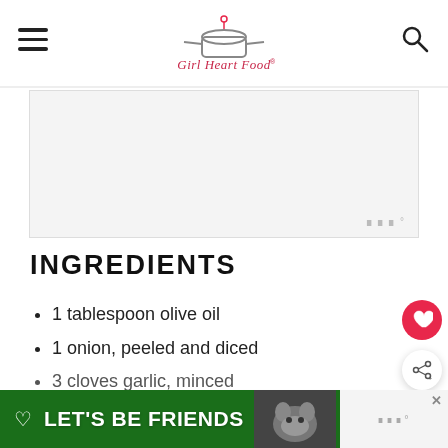Girl Heart Food logo with hamburger menu and search icon
[Figure (other): Advertisement placeholder with Mediavine logo watermark]
INGREDIENTS
1 tablespoon olive oil
1 onion, peeled and diced
3 cloves garlic, minced
[Figure (other): What's Next panel showing Easy Chicken Taco Soup thumbnail and label]
[Figure (other): Bottom ad banner: LET'S BE FRIENDS with dog image on green background]